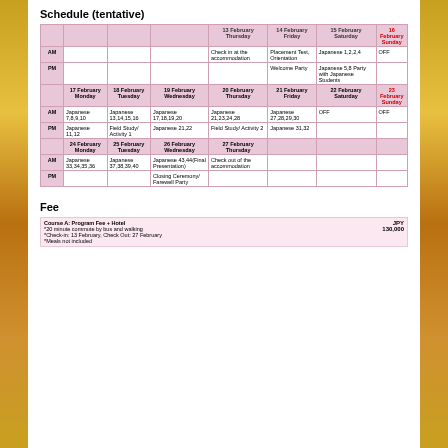Schedule (tentative)
|  |  |  |  | 13 February Thursday | 14 February Friday | 15 February Saturday | 16 February Sunday |
| --- | --- | --- | --- | --- | --- | --- | --- |
| AM |  |  |  | Check in at the accommodation | Placement Test, Orientation | Japanese 1,2,2,4 | OFF |
| PM |  |  |  |  | Welcome Party | Japanese 5,8 Party with Japanese Students |  |
|  | 17 February Monday | 18 February Tuesday | 19 February Wednesday | 20 February Thursday | 21 February Friday | 22 February Saturday | 23 February Sunday |
| AM | Japanese 7,8,9,10 | Japanese 13,14,15,16 | Japanese 17,18,19,20 | Japanese 21,23,24,28 | Japanese 27,28,29,30 | OFF | OFF |
| PM | Japanese 11,12 | Field Study/ Activity 1 | Japanese 21,22 | Field Study/ Activity 2 | Japanese 31,32 |  |  |
|  | 24 February Monday | 25 February Tuesday | 26 February Wednesday | 27 February Thursday |  |  |  |
| AM | Japanese 33,34,35,36 | Japanese 37,38,39,40 | Japanese 43,44(Final Presentation) | Check out of the accommodation |  |  |  |
| PM |  |  | Closing Ceremony/ Farewell Party |  |  |  |  |
Fee
| Description | Amount |
| --- | --- |
| Course A: Program Fee + Hotel
*20 minute commute by bus and walking
*Check-in: 13 February, Check Out: 27 February
*Meals not included | JPY 130,000 |